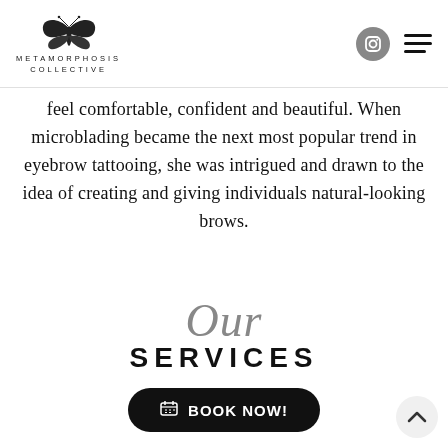[Figure (logo): Metamorphosis Collective logo with butterfly illustration and text METAMORPHOSIS COLLECTIVE]
feel comfortable, confident and beautiful. When microblading became the next most popular trend in eyebrow tattooing, she was intrigued and drawn to the idea of creating and giving individuals natural-looking brows.
Our SERVICES
BOOK NOW!